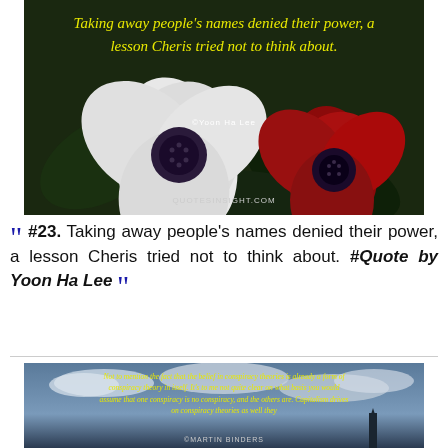[Figure (photo): Dark floral background with white and red anemone flowers, with a yellow cursive quote text overlay reading 'Taking away people's names denied their power, a lesson Cheris tried not to think about.' Attribution: ©Yoon Ha Lee, site: QUOTESINSIGHT.COM]
" #23. Taking away people's names denied their power, a lesson Cheris tried not to think about. #Quote by Yoon Ha Lee "
[Figure (photo): Sky and clouds background with city silhouette, yellow cursive quote text: 'Not to mention the fact that the belief in conspiracy theories is already a form of conspiracy theory in itself. It's to me not quite clear on what basis you would assume that one conspiracy is no conspiracy, and the others are. Capitalism drives on conspiracy theories as well they' Attribution: ©MARTIN BINDERS]